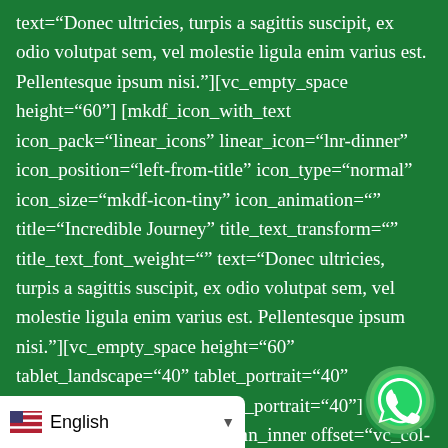text="Donec ultricies, turpis a sagittis suscipit, ex odio volutpat sem, vel molestie ligula enim varius est. Pellentesque ipsum nisi."][vc_empty_space height="60"] [mkdf_icon_with_text icon_pack="linear_icons" linear_icon="lnr-dinner" icon_position="left-from-title" icon_type="normal" icon_size="mkdf-icon-tiny" icon_animation="" title="Incredible Journey" title_text_transform="" title_text_font_weight="" text="Donec ultricies, turpis a sagittis suscipit, ex odio volutpat sem, vel molestie ligula enim varius est. Pellentesque ipsum nisi."][vc_empty_space height="60" tablet_landscape="40" tablet_portrait="40" phone_landscape="40" phone_portrait="40"] [/vc_column_inner][vc_column_inner offset="vc_col-lg-4 vc_col-md-4"][mkdf_icon_with_text icon_pack="linear_icons" linear_icon="lnr-train" icon_position="left-from-title" icon_type="normal" icon_animation=""
[Figure (other): WhatsApp floating button (green circle with phone/chat icon) at bottom right]
English (language selector bar at bottom left with US flag and dropdown arrow)